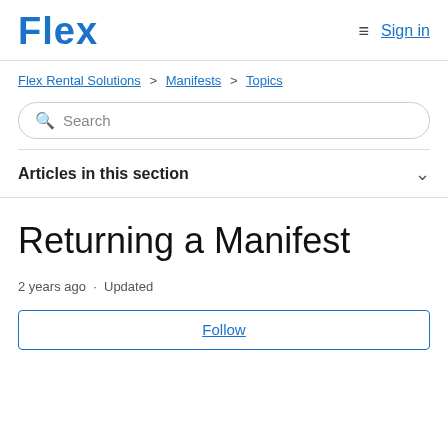Flex | Sign in
Flex Rental Solutions > Manifests > Topics
Search
Articles in this section
Returning a Manifest
2 years ago · Updated
Follow